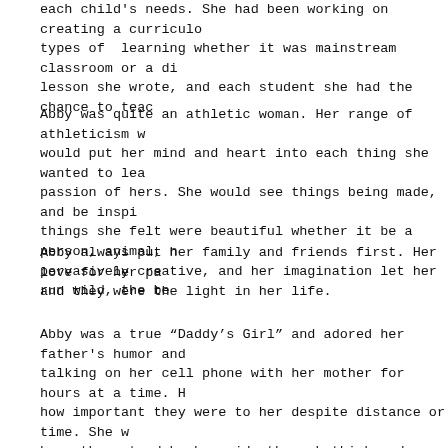each child's needs. She had been working on creating a curriculo types of learning whether it was mainstream classroom or a di lesson she wrote, and each student she had the chance to teac
Abby was quite an athletic woman. Her range of athleticism w would put her mind and heart into each thing she wanted to lea passion of hers. She would see things being made, and be inspi things she felt were beautiful whether it be a person, animal, n pervasively creative, and her imagination let her run wild, the be
Abby always put her family and friends first. Her love for her pa and they were the light in her life.
Abby was a true “Daddy’s Girl” and adored her father's humor and talking on her cell phone with her mother for hours at a time. H how important they were to her despite distance or time. She w have them stand by her side through thick and thin. She was ki